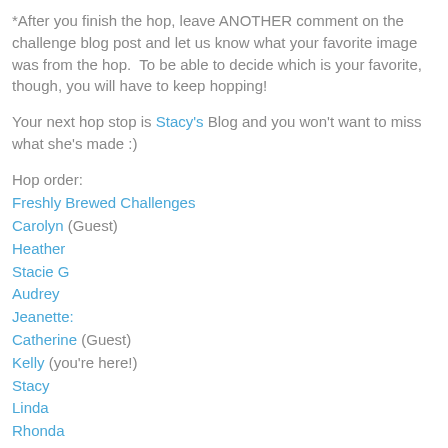*After you finish the hop, leave ANOTHER comment on the challenge blog post and let us know what your favorite image was from the hop.  To be able to decide which is your favorite, though, you will have to keep hopping!
Your next hop stop is Stacy's Blog and you won't want to miss what she's made :)
Hop order:
Freshly Brewed Challenges
Carolyn (Guest)
Heather
Stacie G
Audrey
Jeanette:
Catherine (Guest)
Kelly (you're here!)
Stacy
Linda
Rhonda
Shazza
Kathy B